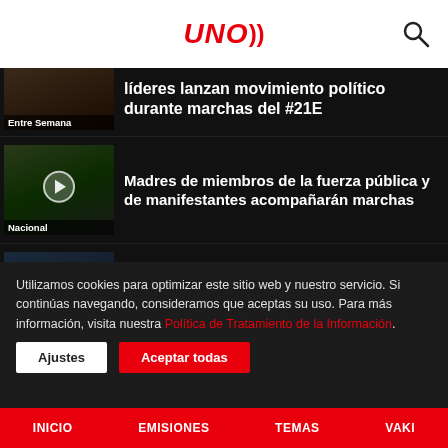UNO Radio - Logo and search
líderes lanzan movimiento político durante marchas del #21E
Madres de miembros de la fuerza pública y de manifestantes acompañarán marchas
ONGs de DD.HH entregaron informe sobre crímenes cometidos por inteligencia militar entre 1977 y
Utilizamos cookies para optimizar este sitio web y nuestro servicio. Si continúas navegando, consideramos que aceptas su uso. Para más información, visita nuestra Política de Tratamiento de la Información.
INICIO  EMISIONES  TEMAS  VAKI